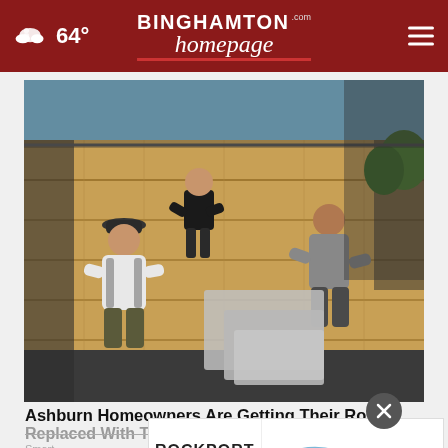64° | BinghamtonHomepage.com
[Figure (photo): Three workers installing shingles on a residential roof with exposed plywood decking visible]
Ashburn Homeowners Are Getting Their Roof Replaced With This Special Program
SmartConsumerInsider.com
[Figure (other): Rockport Life·Motion advertisement banner showing two shoes - a light blue sneaker and a tan sandal]